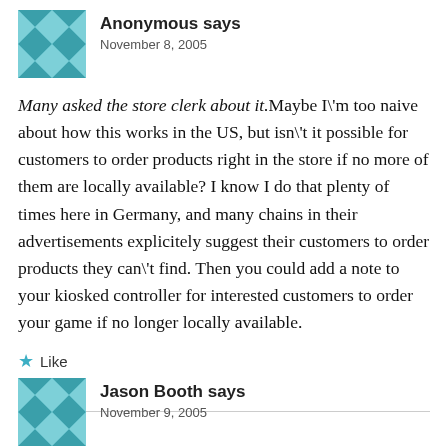Anonymous says
November 8, 2005
Many asked the store clerk about it.Maybe I\'m too naive about how this works in the US, but isn\'t it possible for customers to order products right in the store if no more of them are locally available? I know I do that plenty of times here in Germany, and many chains in their advertisements explicitely suggest their customers to order products they can\'t find. Then you could add a note to your kiosked controller for interested customers to order your game if no longer locally available.
★ Like
Reply
Jason Booth says
November 9, 2005